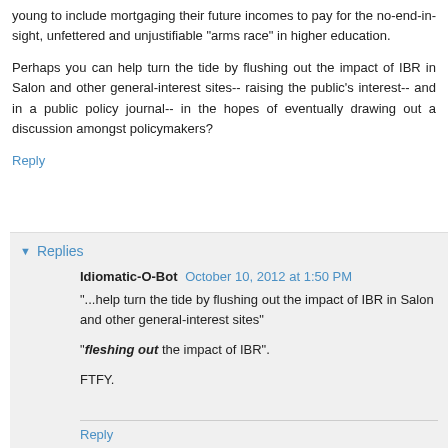young to include mortgaging their future incomes to pay for the no-end-in-sight, unfettered and unjustifiable "arms race" in higher education.
Perhaps you can help turn the tide by flushing out the impact of IBR in Salon and other general-interest sites-- raising the public's interest-- and in a public policy journal-- in the hopes of eventually drawing out a discussion amongst policymakers?
Reply
Replies
Idiomatic-O-Bot  October 10, 2012 at 1:50 PM
"...help turn the tide by flushing out the impact of IBR in Salon and other general-interest sites"
"fleshing out the impact of IBR".
FTFY.
Reply